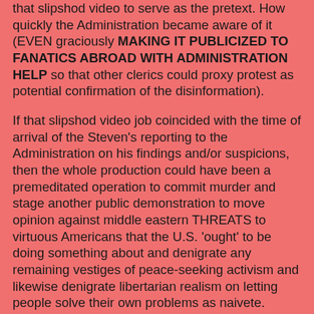that slipshod video to serve as the pretext. How quickly the Administration became aware of it (EVEN graciously MAKING IT PUBLICIZED TO FANATICS ABROAD WITH ADMINISTRATION HELP so that other clerics could proxy protest as potential confirmation of the disinformation).
If that slipshod video job coincided with the time of arrival of the Steven's reporting to the Administration on his findings and/or suspicions, then the whole production could have been a premeditated operation to commit murder and stage another public demonstration to move opinion against middle eastern THREATS to virtuous Americans that the U.S. 'ought' to be doing something about and denigrate any remaining vestiges of peace-seeking activism and likewise denigrate libertarian realism on letting people solve their own problems as naivete.
And one other ominous puzzle, pointed out on PJTV by Bill Whittle, was the UNEXPLAINABLE reticence (in the furor at the time) of the Republican Romney IN THE DEBATES with fully national public venue. Romney rejected that pure golden opportunity to expose the incompetence of his opponent. Draw your own conclusions about what [they] and